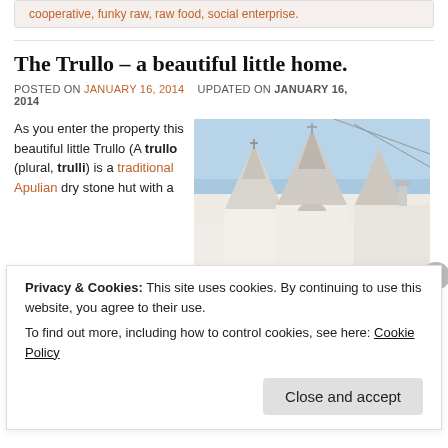cooperative, funky raw, raw food, social enterprise.
The Trullo – a beautiful little home.
POSTED ON JANUARY 16, 2014   UPDATED ON JANUARY 16, 2014
As you enter the property this beautiful little Trullo (A trullo (plural, trulli) is a traditional Apulian dry stone hut with a
[Figure (photo): Photograph of white trullo buildings with conical stone roofs against a blue sky]
Privacy & Cookies: This site uses cookies. By continuing to use this website, you agree to their use.
To find out more, including how to control cookies, see here: Cookie Policy